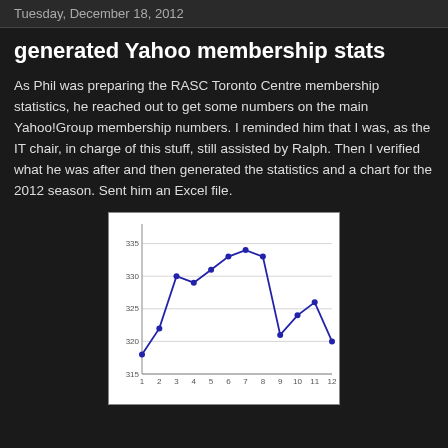Tuesday, December 18, 2012
generated Yahoo membership stats
As Phil was preparing the RASC Toronto Centre membership statistics, he reached out to get some numbers on the main Yahoo!Group membership numbers. I reminded him that I was, as the IT chair, in charge of this stuff, still assisted by Ralph. Then I verified what he was after and then generated the statistics and a chart for the 2012 season. Sent him an Excel file.
[Figure (line-chart): Yahoo Group Membership 2012]